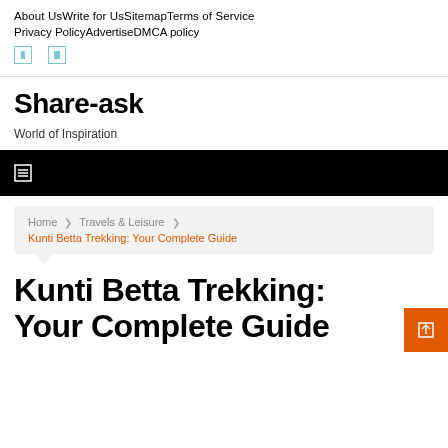About Us   Write for Us   Sitemap   Terms of Service   Privacy Policy   Advertise   DMCA policy
Share-ask
World of Inspiration
[Figure (other): Black navigation bar with hamburger menu icon]
Home ❯ Travels & Leisure ❯ Kunti Betta Trekking: Your Complete Guide
Kunti Betta Trekking: Your Complete Guide